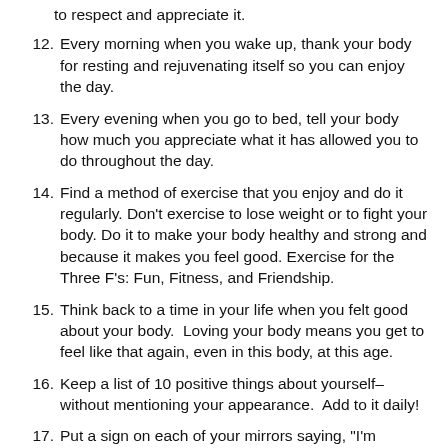Every morning when you wake up, thank your body for resting and rejuvenating itself so you can enjoy the day.
Every evening when you go to bed, tell your body how much you appreciate what it has allowed you to do throughout the day.
Find a method of exercise that you enjoy and do it regularly. Don't exercise to lose weight or to fight your body. Do it to make your body healthy and strong and because it makes you feel good. Exercise for the Three F's: Fun, Fitness, and Friendship.
Think back to a time in your life when you felt good about your body.  Loving your body means you get to feel like that again, even in this body, at this age.
Keep a list of 10 positive things about yourself–without mentioning your appearance.  Add to it daily!
Put a sign on each of your mirrors saying, "I'm